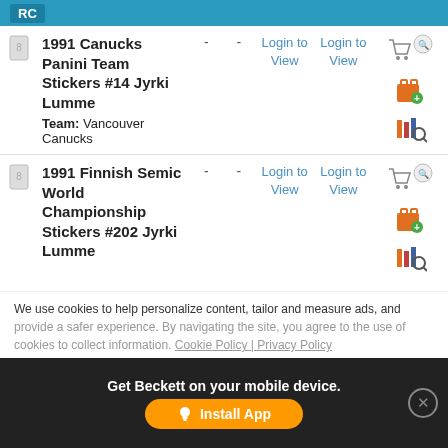RC
|  | Card Name | - | - | Login to View | Login to View | Actions |
| --- | --- | --- | --- | --- | --- | --- |
|  | 1991 Canucks Panini Team Stickers #14 Jyrki Lumme
Team: Vancouver Canucks | - | - | Login to View | Login to View |  |
|  | 1991 Finnish Semic World Championship Stickers #202 Jyrki Lumme | - | - | Login to View | Login to View |  |
|  | 1991 Swedish Semic World Championship Stickers #202... | - | - | Login to View | Login to View |  |
We use cookies to help personalize content, tailor and measure ads, and provide a safer experience. By navigating the site, you agree to the use of cookies to collect information. Cookie Policy | Privacy Policy
Get Beckett on your mobile device.
Install App